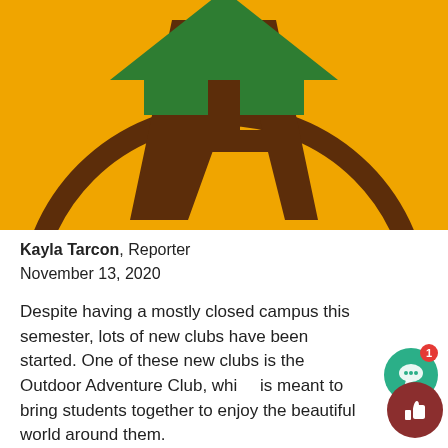[Figure (logo): Outdoor Adventure Club logo: yellow/golden background with a large brown circle outline, a brown letter A in the center, and a green arrow/chevron shape at the top of the A, partially cropped at top.]
Kayla Tarcon, Reporter
November 13, 2020
Despite having a mostly closed campus this semester, lots of new clubs have been started. One of these new clubs is the Outdoor Adventure Club, which is meant to bring students together to enjoy the beautiful world around them.